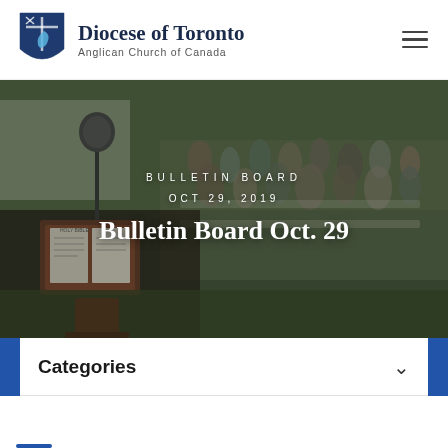Diocese of Toronto — Anglican Church of Canada
[Figure (photo): Outdoor church service with congregation seated on chairs in a garden, a microphone and Bible on a lectern in the foreground, overlaid with text: BULLETIN BOARD, OCT 29, 2019, Bulletin Board Oct. 29]
BULLETIN BOARD
OCT 29, 2019
Bulletin Board Oct. 29
Categories